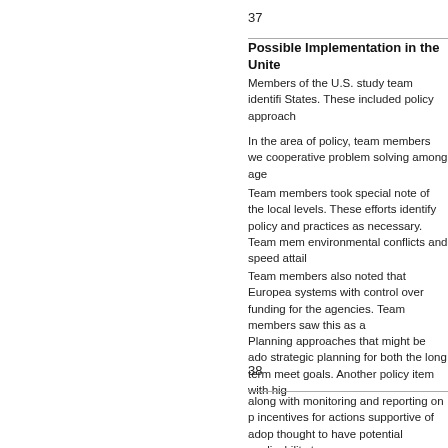37
Possible Implementation in the Unite
Members of the U.S. study team identifi States. These included policy approach
In the area of policy, team members we cooperative problem solving among age
Team members took special note of the local levels. These efforts identify policy and practices as necessary. Team mem environmental conflicts and speed attail
Team members also noted that Europea systems with control over funding for the agencies. Team members saw this as a
Planning approaches that might be ado strategic planning for both the long term meet goals. Another policy item with hig
38
along with monitoring and reporting on p incentives for actions supportive of adop thought to have potential applicability to